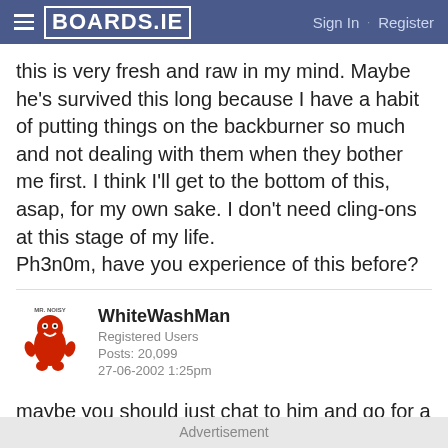BOARDS.IE — Sign In · Register
this is very fresh and raw in my mind. Maybe he's survived this long because I have a habit of putting things on the backburner so much and not dealing with them when they bother me first. I think I'll get to the bottom of this, asap, for my own sake. I don't need cling-ons at this stage of my life.
Ph3n0m, have you experience of this before?
WhiteWashMan
Registered Users
Posts: 20,099
27-06-2002 1:25pm
maybe you should just chat to him and go for a beer.
SYL
Advertisement